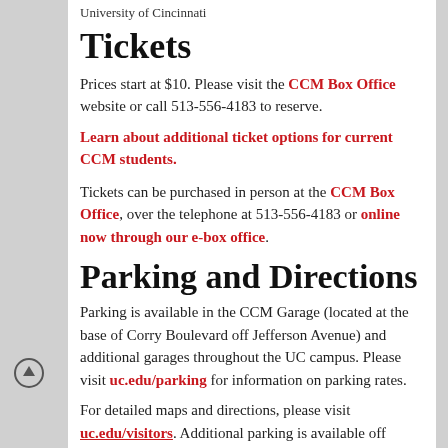University of Cincinnati
Tickets
Prices start at $10. Please visit the CCM Box Office website or call 513-556-4183 to reserve.
Learn about additional ticket options for current CCM students.
Tickets can be purchased in person at the CCM Box Office, over the telephone at 513-556-4183 or online now through our e-box office.
Parking and Directions
Parking is available in the CCM Garage (located at the base of Corry Boulevard off Jefferson Avenue) and additional garages throughout the UC campus. Please visit uc.edu/parking for information on parking rates.
For detailed maps and directions, please visit uc.edu/visitors. Additional parking is available off